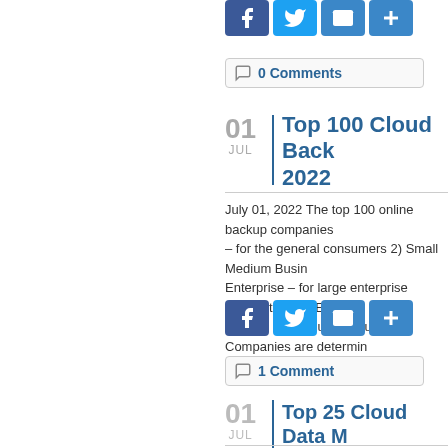[Figure (infographic): Social share buttons row at top: Facebook, Twitter, Email, More (blue square icons)]
0 Comments
01 JUL
Top 100 Cloud Back... 2022
July 01, 2022 The top 100 online backup companies – for the general consumers 2) Small Medium Busin... Enterprise – for large enterprise corporations 4) Enab... The top 100 Cloud Backup Companies are determin...
[Figure (infographic): Social share buttons: Facebook, Twitter, Email, More (blue square icons)]
1 Comment
01 JUL
Top 25 Cloud Data M... for July 2022